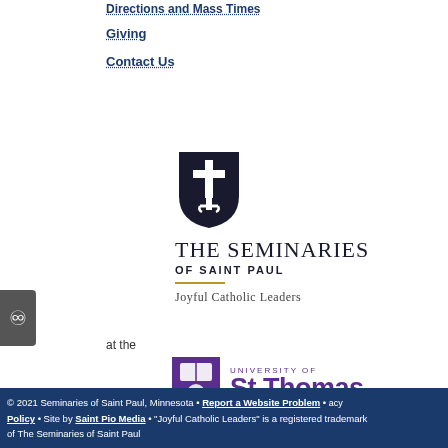Directions and Mass Times
Giving
Contact Us
[Figure (logo): The Seminaries of Saint Paul shield logo with cross, tagline: Joyful Catholic Leaders]
at the
[Figure (logo): University of St. Thomas logo in purple]
University Policies
© 2021 Seminaries of Saint Paul, Minnesota • Report a Website Problem • acy Policy • Site by Saint Pio Media • "Joyful Catholic Leaders" is a registered trademark of The Seminaries of Saint Paul